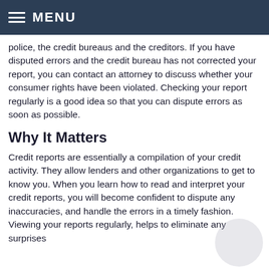MENU
police, the credit bureaus and the creditors. If you have disputed errors and the credit bureau has not corrected your report, you can contact an attorney to discuss whether your consumer rights have been violated. Checking your report regularly is a good idea so that you can dispute errors as soon as possible.
Why It Matters
Credit reports are essentially a compilation of your credit activity. They allow lenders and other organizations to get to know you. When you learn how to read and interpret your credit reports, you will become confident to dispute any inaccuracies, and handle the errors in a timely fashion.  Viewing your reports regularly, helps to eliminate any surprises